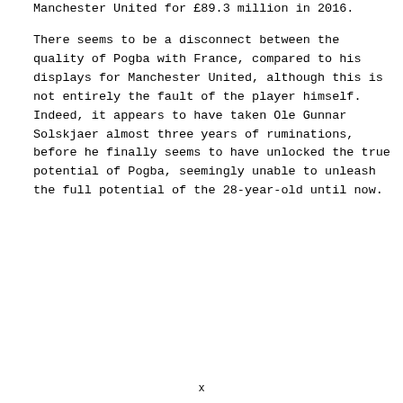Manchester United for £89.3 million in 2016.
There seems to be a disconnect between the quality of Pogba with France, compared to his displays for Manchester United, although this is not entirely the fault of the player himself. Indeed, it appears to have taken Ole Gunnar Solskjaer almost three years of ruminations, before he finally seems to have unlocked the true potential of Pogba, seemingly unable to unleash the full potential of the 28-year-old until now.
x